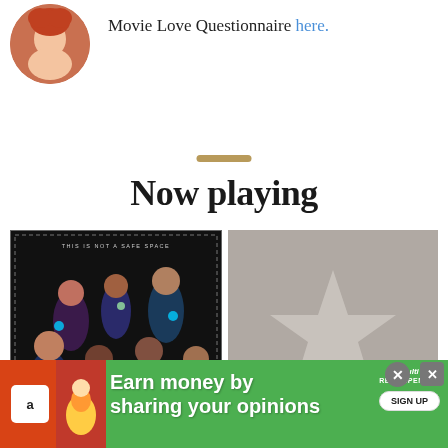Movie Love Questionnaire here.
[Figure (illustration): Section divider gold bar above Now Playing heading]
Now playing
[Figure (photo): Movie poster with dark background, group of young people with glowing lights. Text reads THIS IS NOT A SAFE SPACE at top.]
[Figure (photo): Gray movie poster placeholder with a large light gray star in the center on a taupe/gray background.]
[Figure (infographic): Green advertisement banner: Earn money by sharing your opinions. Includes Amazon icon, MultiRecompensas logo, and SIGN UP button. Has two X close buttons.]